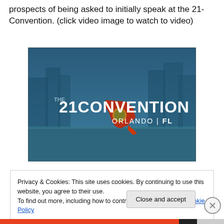prospects of being asked to initially speak at the 21-Convention. (click video image to watch to video)
[Figure (screenshot): Video thumbnail showing 'THE 21 CONVENTION ORLANDO | FL' text over a blue-tinted cityscape background with a Florida state map/flag graphic.]
Privacy & Cookies: This site uses cookies. By continuing to use this website, you agree to their use.
To find out more, including how to control cookies, see here: Cookie Policy
Close and accept